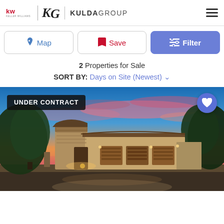Keller Williams KG KULDA GROUP
Map | Save | Filter
2 Properties for Sale
SORT BY: Days on Site (Newest)
[Figure (photo): Luxury residential home with stone facade and tile roof photographed at dusk with vibrant pink and blue sunset sky. The home has multiple garage doors and is surrounded by mature trees. An 'UNDER CONTRACT' badge appears in the upper left and a heart/favorite button in the upper right.]